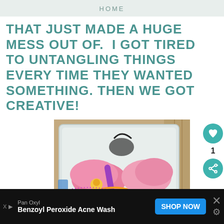HOME
THAT JUST MADE A HUGE MESS OUT OF. I GOT TIRED TO UNTANGLING THINGS EVERY TIME THEY WANTED SOMETHING. THEN WE GOT CREATIVE!
[Figure (photo): A white plastic bin/container filled with tangled children's accessories including pink flip flops, colorful jewelry, hair ties, and various small items, photographed from above on a wooden floor.]
1
Pan Oxyl
Benzoyl Peroxide Acne Wash
SHOP NOW